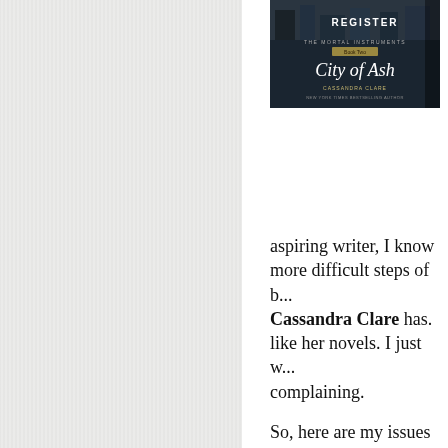[Figure (photo): Book cover of 'City of Ashes' by Cassandra Clare, The Mortal Instruments Book Two. Shows dark urban imagery with title text and REGISTER label overlay.]
aspiring writer, I know more difficult steps of b... Cassandra Clare has. ... like her novels. I just w... complaining.
So, here are my issues w...
One, I didn't think there... where they live and wo... a well-developed world...
Two, the characters are...